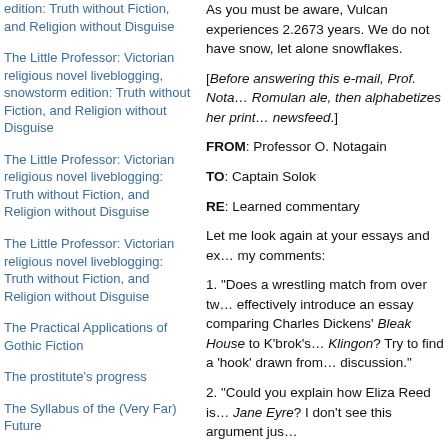edition: Truth without Fiction, and Religion without Disguise
The Little Professor: Victorian religious novel liveblogging, snowstorm edition: Truth without Fiction, and Religion without Disguise
The Little Professor: Victorian religious novel liveblogging: Truth without Fiction, and Religion without Disguise
The Little Professor: Victorian religious novel liveblogging: Truth without Fiction, and Religion without Disguise
The Practical Applications of Gothic Fiction
The prostitute's progress
The Syllabus of the (Very Far) Future
Words
ARCHIVES
December 2021
October 2021
As you must be aware, Vulcan experiences 2.2673 years.  We do not have snow, let alone snowflakes.
[Before answering this e-mail, Prof. Nota… Romulan ale, then alphabetizes her print… newsfeed.]
FROM: Professor O. Notagain
TO: Captain Solok
RE: Learned commentary
Let me look again at your essays and ex… my comments:
1.  "Does a wrestling match from over tw… effectively introduce an essay comparing Charles Dickens' Bleak House to K'brok's… Klingon?  Try to find a 'hook' drawn from… discussion."
2.  "Could you explain how Eliza Reed is… Jane Eyre? I don't see this argument jus…
3.  "You've used 'indeed' as a transition a… what would be a more appropriate word?